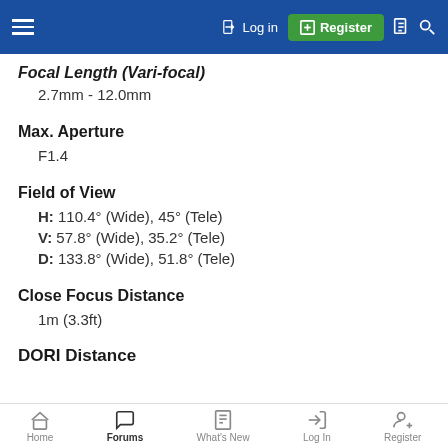Login | Register
Focal Length (Vari-focal)
2.7mm - 12.0mm
Max. Aperture
F1.4
Field of View
H: 110.4° (Wide), 45° (Tele)
V: 57.8° (Wide), 35.2° (Tele)
D: 133.8° (Wide), 51.8° (Tele)
Close Focus Distance
1m (3.3ft)
DORI Distance
Home | Forums | What's New | Log In | Register